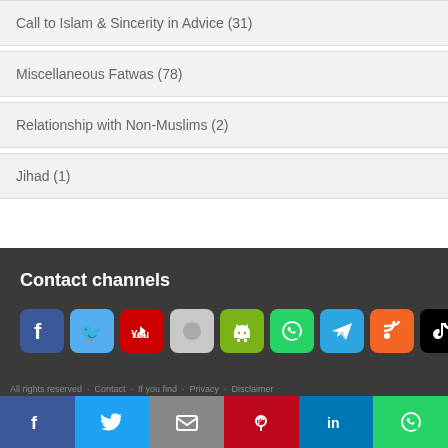Call to Islam & Sincerity in Advice (31)
Miscellaneous Fatwas (78)
Relationship with Non-Muslims (2)
Jihad (1)
Contact channels
[Figure (infographic): Row of social media and app icons: Facebook, Twitter, YouTube, Apple, Android, WhatsApp, Telegram, RSS, TikTok, Instagram]
[Figure (infographic): Bottom share bar with Facebook, Twitter, Email, Pinterest, LinkedIn, WhatsApp buttons]